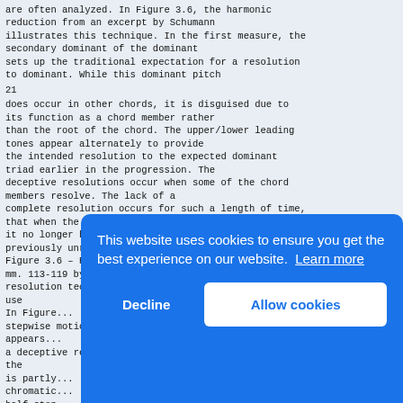are often analyzed. In Figure 3.6, the harmonic reduction from an excerpt by Schumann illustrates this technique. In the first measure, the secondary dominant of the dominant sets up the traditional expectation for a resolution to dominant. While this dominant pitch
21
does occur in other chords, it is disguised due to its function as a chord member rather than the root of the chord. The upper/lower leading tones appear alternately to provide the intended resolution to the expected dominant triad earlier in the progression. The deceptive resolutions occur when some of the chord members resolve. The lack of a complete resolution occurs for such a length of time, that when the chord finally appears, it no longer has an audible association with the previously unresolved chord.
Figure 3.6 – Reduction of Sonata in A minor, Op. 105, mm. 113-119 by Robert Schumann. Delayed resolution techniques using a primary dominant with use...
In Figure... stepwise... appears... a deceptive... the... is partly... chromatic... half... tonal... motion leading to the dominant.
[Figure (other): Cookie consent overlay banner with blue background. Text: 'This website uses cookies to ensure you get the best experience on our website. Learn more'. Two buttons: 'Decline' and 'Allow cookies'.]